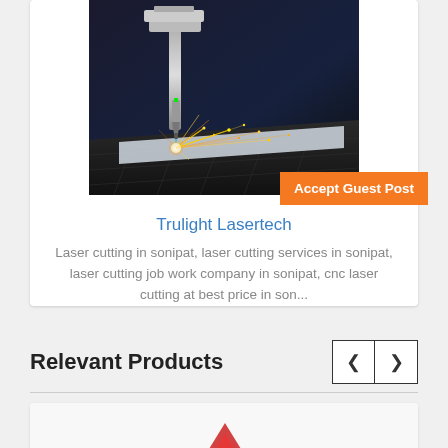[Figure (photo): CNC laser cutting machine in action with sparks flying, industrial manufacturing photo]
Accept Guest Post
Trulight Lasertech
Laser cutting in sonipat, laser cutting services in sonipat, laser cutting job work company in sonipat, cnc laser cutting at best price in son...
Relevant Products
[Figure (photo): Partial product image showing red/white product with watermark text]